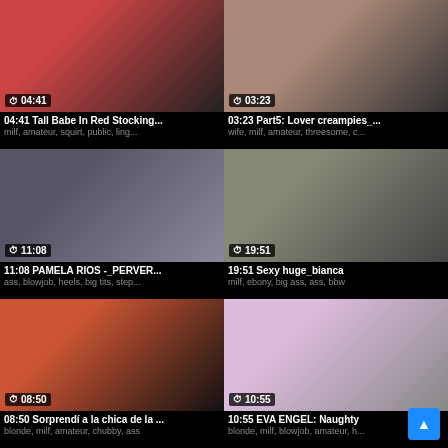[Figure (screenshot): Video thumbnail - Tall Babe In Red Stocking, duration 04:41]
04:41 Tall Babe In Red Stocking...
milf, amateur, squirt, public, ling...
[Figure (screenshot): Video thumbnail - Part5: Lover creampies, duration 03:23]
03:23 Part5: Lover creampies_...
wife, milf, amateur, threesome, c...
[Figure (screenshot): Video thumbnail - PAMELA RIOS PERVER, duration 11:08]
11:08 PAMELA RIOS -_PERVER...
ass, blowjob, heels, big tits, step...
[Figure (screenshot): Video thumbnail - Sexy huge_bianca, duration 19:51]
19:51 Sexy huge_bianca
milf, ebony, big ass, ass, bbw
[Figure (screenshot): Video thumbnail - Sorprendí a la chica de la, duration 08:50]
08:50 Sorprendí a la chica de la ...
blonde, milf, amateur, chubby, ass
[Figure (screenshot): Video thumbnail - EVA ENGEL Naughty, duration 10:55]
10:55 EVA ENGEL: Naughty
blonde, milf, blowjob, amateur, h...